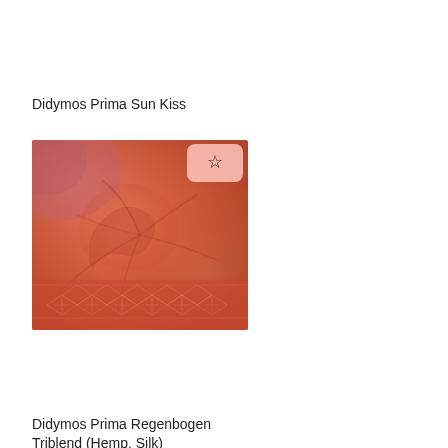Didymos Prima Sun Kiss
[Figure (photo): Close-up photo of orange/coral patterned woven fabric with geometric diamond weave pattern and a star/favorite button overlay in the top right corner]
Didymos Prima Regenbogen Triblend (Hemp, Silk)